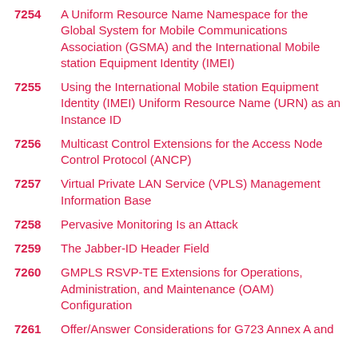7254 A Uniform Resource Name Namespace for the Global System for Mobile Communications Association (GSMA) and the International Mobile station Equipment Identity (IMEI)
7255 Using the International Mobile station Equipment Identity (IMEI) Uniform Resource Name (URN) as an Instance ID
7256 Multicast Control Extensions for the Access Node Control Protocol (ANCP)
7257 Virtual Private LAN Service (VPLS) Management Information Base
7258 Pervasive Monitoring Is an Attack
7259 The Jabber-ID Header Field
7260 GMPLS RSVP-TE Extensions for Operations, Administration, and Maintenance (OAM) Configuration
7261 Offer/Answer Considerations for G723 Annex A and